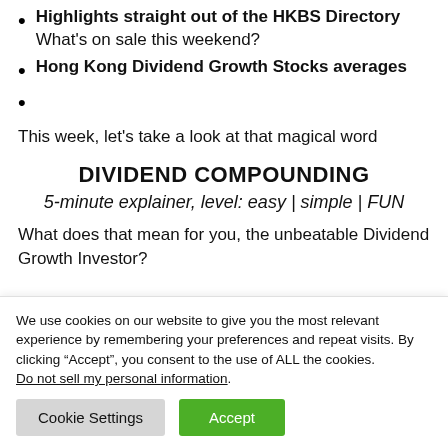Highlights straight out of the HKBS Directory — What's on sale this weekend?
Hong Kong Dividend Growth Stocks averages
This week, let's take a look at that magical word
DIVIDEND COMPOUNDING
5-minute explainer, level: easy | simple | FUN
What does that mean for you, the unbeatable Dividend Growth Investor?
We use cookies on our website to give you the most relevant experience by remembering your preferences and repeat visits. By clicking “Accept”, you consent to the use of ALL the cookies.
Do not sell my personal information.